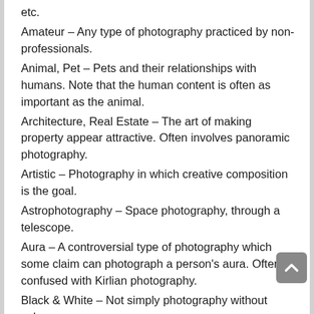etc.
Amateur – Any type of photography practiced by non-professionals.
Animal, Pet – Pets and their relationships with humans. Note that the human content is often as important as the animal.
Architecture, Real Estate – The art of making property appear attractive. Often involves panoramic photography.
Artistic – Photography in which creative composition is the goal.
Astrophotography – Space photography, through a telescope.
Aura – A controversial type of photography which some claim can photograph a person's aura. Often confused with Kirlian photography.
Black & White – Not simply photography without color, black and white photography explores chanse, tones